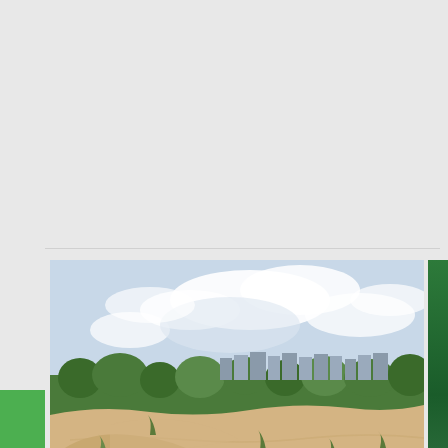[Figure (photo): Sandy desert landscape in Kiev with sparse vegetation, trees, city buildings visible in the background under a cloudy sky]
Kiev
Ukraine
Desert in Kiev